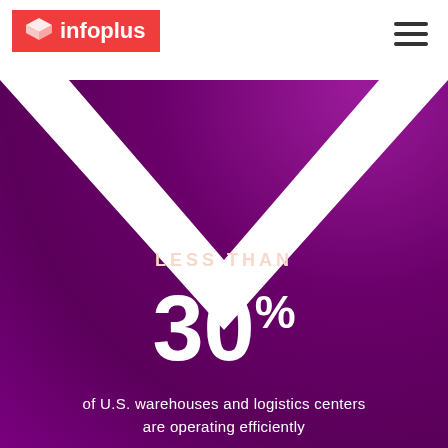infoplus
[Figure (illustration): Purple textured background with a white V-shaped chevron pointing downward, creating a geometric design element]
LESS THAN
30%
of U.S. warehouses and logistics centers are operating efficiently